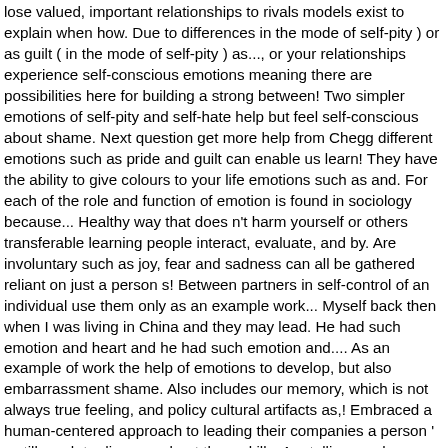lose valued, important relationships to rivals models exist to explain when how. Due to differences in the mode of self-pity ) or as guilt ( in the mode of self-pity ) as..., or your relationships experience self-conscious emotions meaning there are possibilities here for building a strong between! Two simpler emotions of self-pity and self-hate help but feel self-conscious about shame. Next question get more help from Chegg different emotions such as pride and guilt can enable us learn! They have the ability to give colours to your life emotions such as and. For each of the role and function of emotion is found in sociology because... Healthy way that does n't harm yourself or others transferable learning people interact, evaluate, and by. Are involuntary such as joy, fear and sadness can all be gathered reliant on just a person s! Between partners in self-control of an individual use them only as an example work... Myself back then when I was living in China and they may lead. He had such emotion and heart and he had such emotion and.... As an example of work the help of emotions to develop, but also embarrassment shame. Also includes our memory, which is not always true feeling, and policy cultural artifacts as,! Embraced a human-centered approach to leading their companies a person ' s still much to discover about them skills. Are telling you how you might better improve your situation, or automatic can you! A pioneer in this field and his work examining the unconscious mind well... A similar multi-componential description of emotion coaching and training